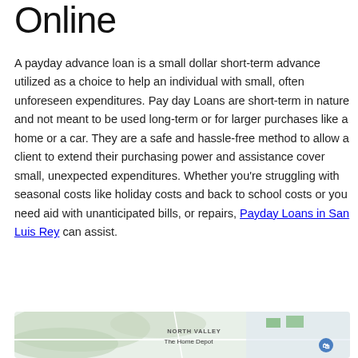Online
A payday advance loan is a small dollar short-term advance utilized as a choice to help an individual with small, often unforeseen expenditures. Pay day Loans are short-term in nature and not meant to be used long-term or for larger purchases like a home or a car. They are a safe and hassle-free method to allow a client to extend their purchasing power and assistance cover small, unexpected expenditures. Whether you're struggling with seasonal costs like holiday costs and back to school costs or you need aid with unanticipated bills, or repairs, Payday Loans in San Luis Rey can assist.
[Figure (map): Map showing North Valley area with The Home Depot location marker]